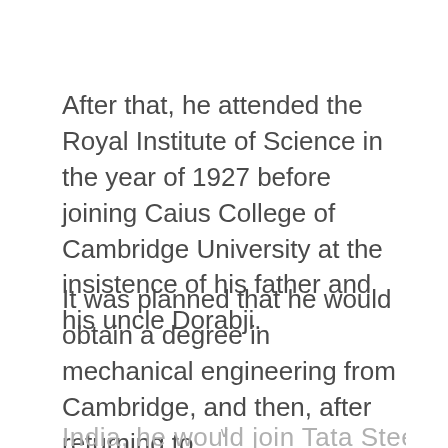After that, he attended the Royal Institute of Science in the year of 1927 before joining Caius College of Cambridge University at the insistence of his father and his uncle Dorabji.
It was planned that he would obtain a degree in mechanical engineering from Cambridge, and then, after returning to India, he would join Tata Steel. T...